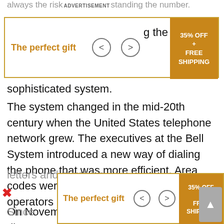always the risk…standing the number.
[Figure (other): Advertisement banner: 'The perfect gift' with navigation arrows and '35% OFF + FREE SHIPPING' promo box]
sophisticated system.
The system changed in the mid-20th century when the United States telephone network grew. The executives at the Bell System introduced a new way of dialing the phone that was more efficient. Area codes were given as routing codes to operators in 1947.
On November 10, 1951, the first long distance, direct call was made by Englewood Mayor M. Leslie Denning to Frank Osborn, the mayor of Alameda, California. Things evolved gradually and in 1955, a list of exchange names was given that had standardized abbreviations consisting of a few letters and numbers.
[Figure (other): Second advertisement banner at bottom: 'The perfect gift' with navigation arrows and '35% OFF + FREE SHIPPING' promo box]
Since… isn't possible… didn't